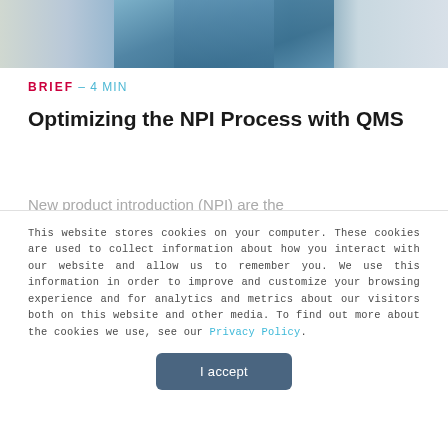[Figure (photo): Cropped photo of a person in a blue outfit standing in front of colorful product displays or shelving]
BRIEF – 4 MIN
Optimizing the NPI Process with QMS
New product introduction (NPI) are the
This website stores cookies on your computer. These cookies are used to collect information about how you interact with our website and allow us to remember you. We use this information in order to improve and customize your browsing experience and for analytics and metrics about our visitors both on this website and other media. To find out more about the cookies we use, see our Privacy Policy.
I accept